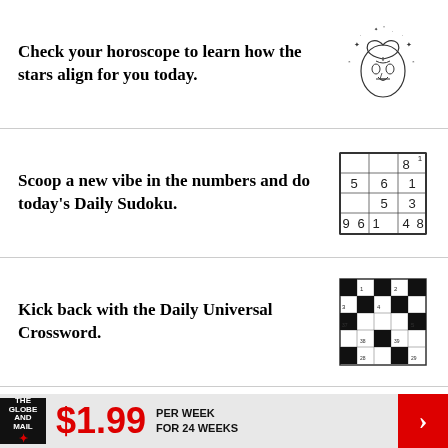Check your horoscope to learn how the stars align for you today.
[Figure (illustration): Horoscope zodiac face illustration with stars]
Scoop a new vibe in the numbers and do today's Daily Sudoku.
[Figure (table-as-image): Partial sudoku grid with numbers 5,6,1,5,3,9,6,1,4,8]
Kick back with the Daily Universal Crossword.
[Figure (illustration): Crossword puzzle grid with black and white squares]
More from The Globe and Mail
Parole documents reveal details of
[Figure (photo): News photo of people holding up photos]
$1.99 PER WEEK FOR 24 WEEKS